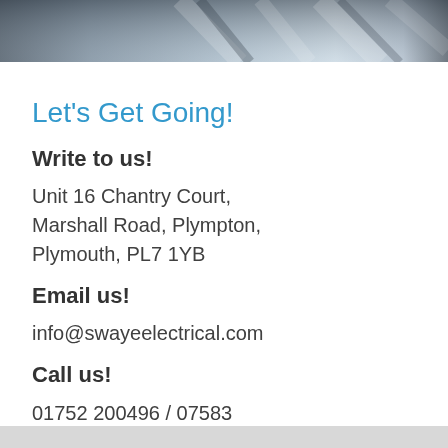[Figure (photo): Partial photo at top of page showing what appears to be roofing or exterior building materials in grayscale]
Let's Get Going!
Write to us!
Unit 16 Chantry Court, Marshall Road, Plympton, Plymouth, PL7 1YB
Email us!
info@swayeelectrical.com
Call us!
01752 200496 / 07583 425158